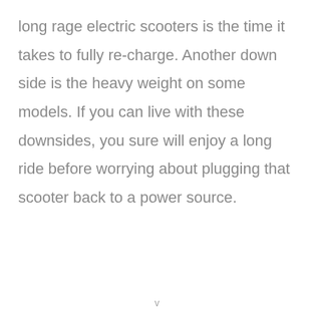long rage electric scooters is the time it takes to fully re-charge. Another down side is the heavy weight on some models. If you can live with these downsides, you sure will enjoy a long ride before worrying about plugging that scooter back to a power source.
v